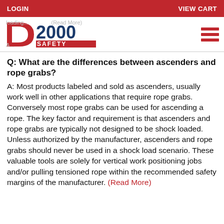LOGIN   VIEW CART
[Figure (logo): D2000 Safety company logo with red D and blue 2000 SAFETY text]
Q: What are the differences between ascenders and rope grabs?
A: Most products labeled and sold as ascenders, usually work well in other applications that require rope grabs. Conversely most rope grabs can be used for ascending a rope. The key factor and requirement is that ascenders and rope grabs are typically not designed to be shock loaded. Unless authorized by the manufacturer, ascenders and rope grabs should never be used in a shock load scenario. These valuable tools are solely for vertical work positioning jobs and/or pulling tensioned rope within the recommended safety margins of the manufacturer. (Read More)